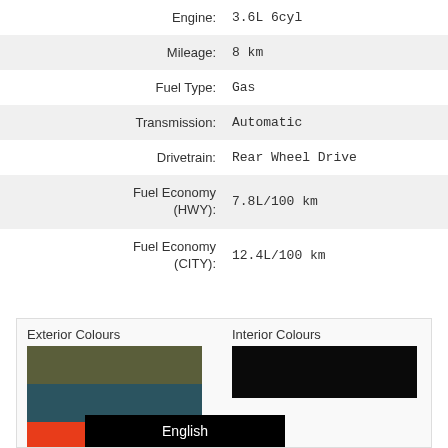| Label | Value |
| --- | --- |
| Engine: | 3.6L 6cyl |
| Mileage: | 8 km |
| Fuel Type: | Gas |
| Transmission: | Automatic |
| Drivetrain: | Rear Wheel Drive |
| Fuel Economy (HWY): | 7.8L/100 km |
| Fuel Economy (CITY): | 12.4L/100 km |
[Figure (infographic): Exterior Colours swatches: olive/dark green, dark teal, red-orange, dark grey/dark brown. Interior Colours swatch: black.]
English